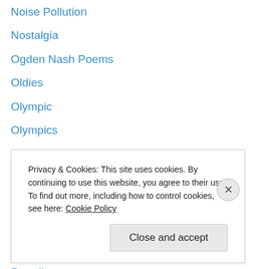Noise Pollution
Nostalgia
Ogden Nash Poems
Oldies
Olympic
Olympics
Opinion
Originality
Overcoming
Pain
Panic
Paradise
Parenting
Privacy & Cookies: This site uses cookies. By continuing to use this website, you agree to their use.
To find out more, including how to control cookies, see here: Cookie Policy